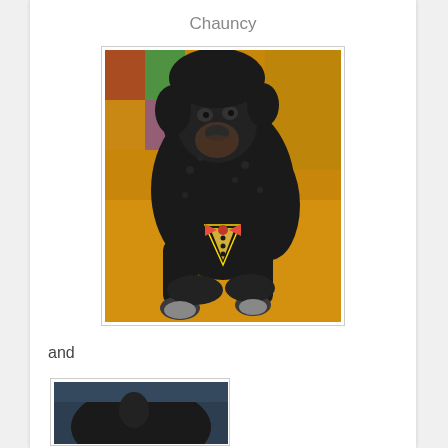Chauncy
[Figure (photo): A large black curly-haired dog wearing a tuxedo bandana with a red bow tie, standing indoors on a yellow/orange floor.]
and
[Figure (photo): Partial view of another dog photo, cropped at page bottom.]